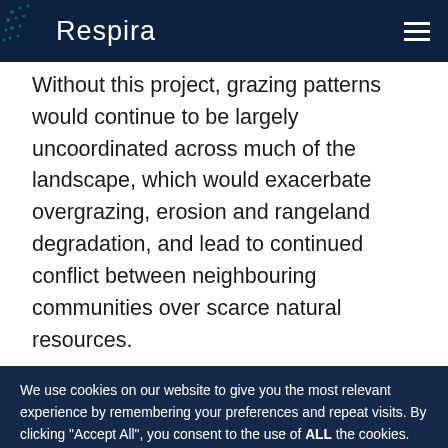Respira
Without this project, grazing patterns would continue to be largely uncoordinated across much of the landscape, which would exacerbate overgrazing, erosion and rangeland degradation, and lead to continued conflict between neighbouring communities over scarce natural resources.
We use cookies on our website to give you the most relevant experience by remembering your preferences and repeat visits. By clicking "Accept All", you consent to the use of ALL the cookies. However, you may visit "Cookie Settings" to provide a
Don't miss out, subscribe to our newsletter today! A regular information-packed newsletter on the voluntary carbon market straight to your inbox.